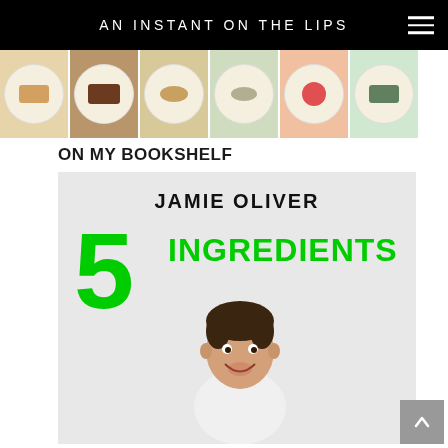AN INSTANT ON THE LIPS
[Figure (photo): Horizontal strip of food photos showing various plated dishes on white plates against colored backgrounds]
ON MY BOOKSHELF
[Figure (photo): Book cover of Jamie Oliver's '5 Ingredients' showing the author name in bold black text, '5 INGREDIENTS' in large bright green text, and a photo of Jamie Oliver smiling, wearing a white sweatshirt, against a light grey background]